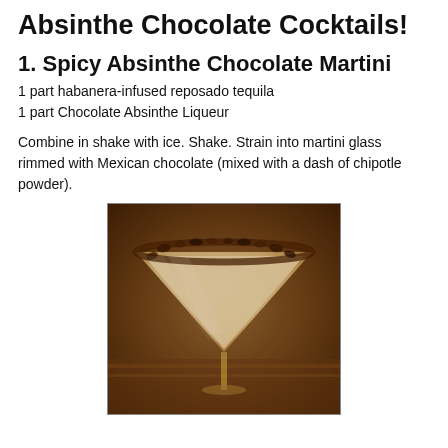Absinthe Chocolate Cocktails!
Absinthe Chocolate Cocktails!
1. Spicy Absinthe Chocolate Martini
1 part habanera-infused reposado tequila
1 part Chocolate Absinthe Liqueur
Combine in shake with ice. Shake. Strain into martini glass rimmed with Mexican chocolate (mixed with a dash of chipotle powder).
[Figure (photo): A sepia-toned photograph of a martini glass with a chocolate-rimmed edge, filled with a creamy light-colored cocktail, on a wooden surface.]